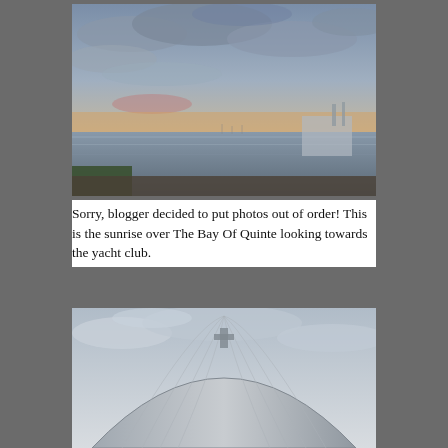[Figure (photo): Sunrise over a bay with calm water reflecting orange and pink hues on the horizon, with cloudy sky and structures visible on the right side — The Bay Of Quinte looking towards the yacht club.]
Sorry, blogger decided to put photos out of order! This is the sunrise over The Bay Of Quinte looking towards the yacht club.
[Figure (photo): A large corrugated metal quonset hut building under a cloudy overcast sky, viewed from outside.]